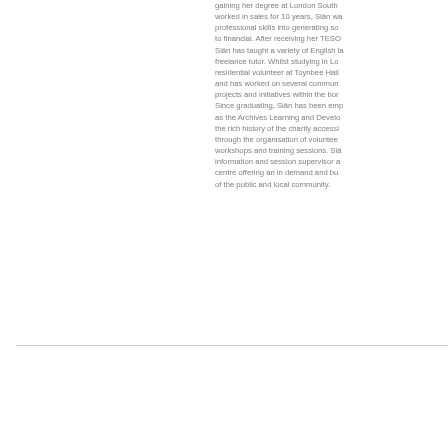gaining her degree at London South worked in sales for 10 years, Siân wa professional skills into generating so to financial. After receiving her TESO Siân has taught a variety of English la freelance tutor. Whilst studying in Lo residential volunteer at Toynbee Hall and has worked on several commun projects and initiatives within the bor Since graduating, Siân has been emp as the Archives Learning and Develo the rich history of the charity accessi through the organisation of voluntee workshops and training sessions. Siâ information and session supervisor a centre offering an in demand and bu of the public and local community.